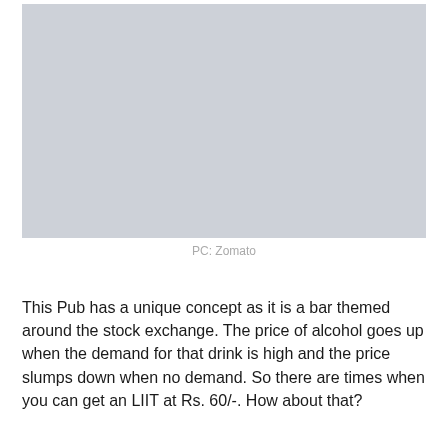[Figure (photo): A gray placeholder image representing a photo, likely of a pub or bar interior.]
PC: Zomato
This Pub has a unique concept as it is a bar themed around the stock exchange. The price of alcohol goes up when the demand for that drink is high and the price slumps down when no demand. So there are times when you can get an LIIT at Rs. 60/-. How about that?